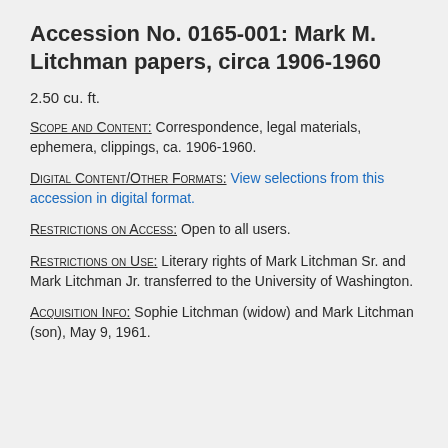Accession No. 0165-001: Mark M. Litchman papers, circa 1906-1960
2.50 cu. ft.
Scope and Content: Correspondence, legal materials, ephemera, clippings, ca. 1906-1960.
Digital Content/Other Formats: View selections from this accession in digital format.
Restrictions on Access: Open to all users.
Restrictions on Use: Literary rights of Mark Litchman Sr. and Mark Litchman Jr. transferred to the University of Washington.
Acquisition Info: Sophie Litchman (widow) and Mark Litchman (son), May 9, 1961.